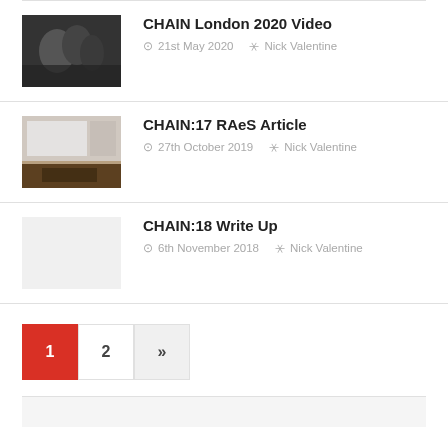CHAIN London 2020 Video | 21st May 2020 | Nick Valentine
CHAIN:17 RAeS Article | 27th October 2019 | Nick Valentine
CHAIN:18 Write Up | 6th November 2018 | Nick Valentine
Pagination: 1 (active), 2, »